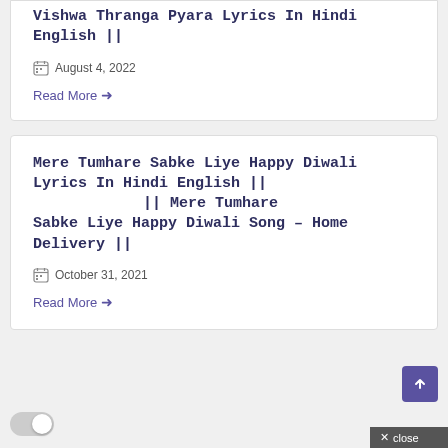Vishwa Thranga Pyara Lyrics In Hindi English ||
August 4, 2022
Read More →
Mere Tumhare Sabke Liye Happy Diwali Lyrics In Hindi English || || Mere Tumhare Sabke Liye Happy Diwali Song – Home Delivery ||
October 31, 2021
Read More →